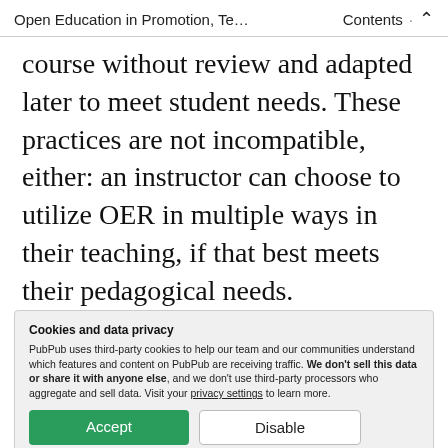Open Education in Promotion, Te…   Contents  ʌ
course without review and adapted later to meet student needs. These practices are not incompatible, either: an instructor can choose to utilize OER in multiple ways in their teaching, if that best meets their pedagogical needs.
Being such a broad category of materials,
Cookies and data privacy
PubPub uses third-party cookies to help our team and our communities understand which features and content on PubPub are receiving traffic. We don't sell this data or share it with anyone else, and we don't use third-party processors who aggregate and sell data. Visit your privacy settings to learn more.
traditional promotion and tenure